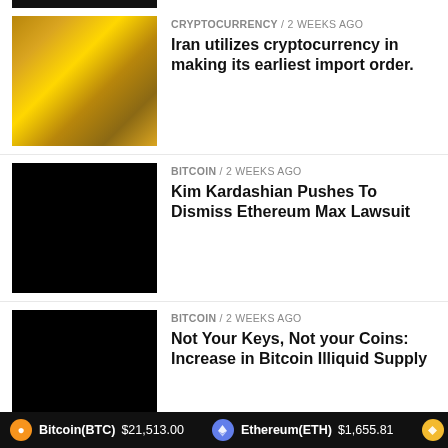[Figure (photo): Partial black image strip at top]
CRYPTOCURRENCY / 2 weeks ago
Iran utilizes cryptocurrency in making its earliest import order.
BITCOIN / 2 weeks ago
Kim Kardashian Pushes To Dismiss Ethereum Max Lawsuit
BITCOIN / 2 weeks ago
Not Your Keys, Not your Coins: Increase in Bitcoin Illiquid Supply
BITCOIN / 3 weeks ago
FIRST METAVERSE ATM CARD
BITCOIN / 3 weeks ago
Crypto Loans Without Collateral – Do All Loans Have Collateral?
Bitcoin(BTC) $21,513.00   Ethereum(ETH) $1,655.81   BNB(